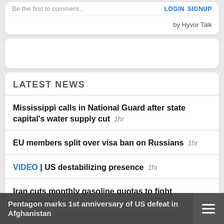Be the first to comment...
LOGIN  SIGNUP
by Hyvor Talk
LATEST NEWS
Mississippi calls in National Guard after state capital's water supply cut  1hr
EU members split over visa ban on Russians  1hr
VIDEO | US destabilizing presence  1hr
Iran cuts monthly gasoline quotas to fight smuggling  3hr
Pentagon marks 1st anniversary of US defeat in Afghanistan